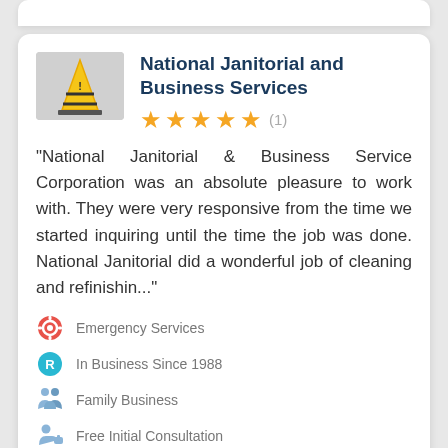National Janitorial and Business Services
“National Janitorial & Business Service Corporation was an absolute pleasure to work with. They were very responsive from the time we started inquiring until the time the job was done. National Janitorial did a wonderful job of cleaning and refinishin...”
Emergency Services
In Business Since 1988
Family Business
Free Initial Consultation
Get Quote